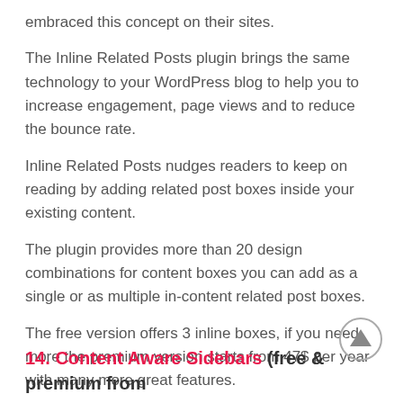embraced this concept on their sites.
The Inline Related Posts plugin brings the same technology to your WordPress blog to help you to increase engagement, page views and to reduce the bounce rate.
Inline Related Posts nudges readers to keep on reading by adding related post boxes inside your existing content.
The plugin provides more than 20 design combinations for content boxes you can add as a single or as multiple in-content related post boxes.
The free version offers 3 inline boxes, if you need more the premium version starts from 47$ per year with many more great features.
Get the Inline Related Posts plugin for your site.
14. Content Aware Sidebars (free & premium from